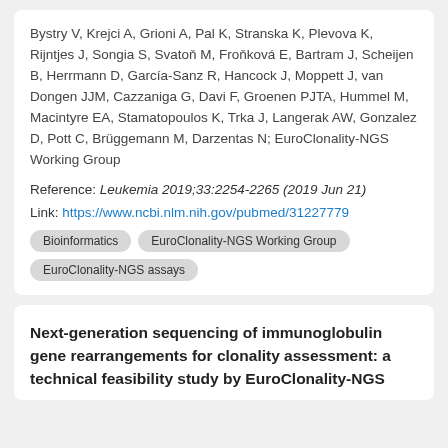Bystry V, Krejci A, Grioni A, Pal K, Stranska K, Plevova K, Rijntjes J, Songia S, Svatoň M, Froňková E, Bartram J, Scheijen B, Herrmann D, García-Sanz R, Hancock J, Moppett J, van Dongen JJM, Cazzaniga G, Davi F, Groenen PJTA, Hummel M, Macintyre EA, Stamatopoulos K, Trka J, Langerak AW, Gonzalez D, Pott C, Brüggemann M, Darzentas N; EuroClonality-NGS Working Group
Reference: Leukemia 2019;33:2254-2265 (2019 Jun 21)
Link: https://www.ncbi.nlm.nih.gov/pubmed/31227779
Bioinformatics
EuroClonality-NGS Working Group
EuroClonality-NGS assays
Next-generation sequencing of immunoglobulin gene rearrangements for clonality assessment: a technical feasibility study by EuroClonality-NGS